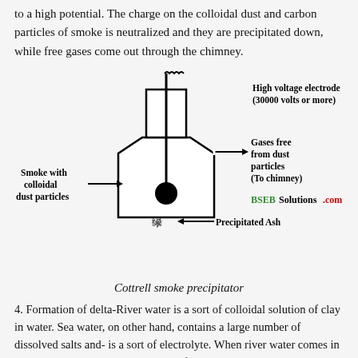to a high potential. The charge on the colloidal dust and carbon particles of smoke is neutralized and they are precipitated down, while free gases come out through the chimney.
[Figure (schematic): Diagram of Cottrell smoke precipitator showing a tall chimney-like vessel with a high voltage electrode at top (30000 volts or more), smoke with colloidal dust particles entering from the left, gases free from dust particles exiting to chimney on the right, a central electrode (black circle), precipitated ash at the bottom, and BSEBSolutions.com watermark.]
Cottrell smoke precipitator
4. Formation of delta-River water is a sort of colloidal solution of clay in water. Sea water, on other hand, contains a large number of dissolved salts and- is a sort of electrolyte. When river water comes in contact with sea water coagulation of colloidal particles occurs. These coagulated clay particles settle dpwn at the point of contact and gradually river bed starts rising. This leads river water to .adopt